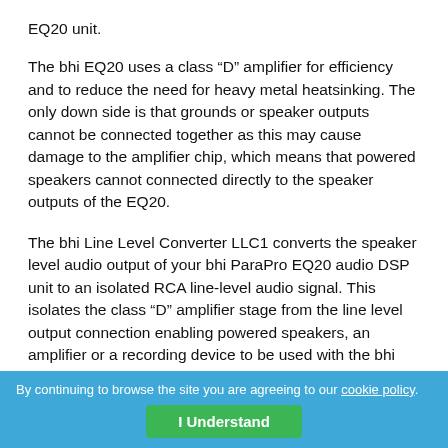EQ20 unit.
The bhi EQ20 uses a class “D” amplifier for efficiency and to reduce the need for heavy metal heatsinking. The only down side is that grounds or speaker outputs cannot be connected together as this may cause damage to the amplifier chip, which means that powered speakers cannot connected directly to the speaker outputs of the EQ20.
The bhi Line Level Converter LLC1 converts the speaker level audio output of your bhi ParaPro EQ20 audio DSP unit to an isolated RCA line-level audio signal. This isolates the class “D” amplifier stage from the line level output connection enabling powered speakers, an amplifier or a recording device to be used with the bhi EQ20 unit. The LLC1 can handle
driving up to 10 wa... ...ard 4Ω or 8Ω speaker
By continuing to browse the site you are agreeing to our cookie policy.
I Understand